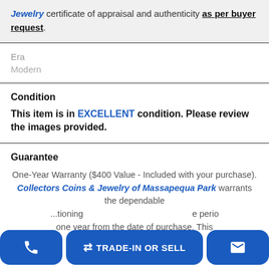Jewelry certificate of appraisal and authenticity as per buyer request.
Era
Modern
Condition
This item is in EXCELLENT condition. Please review the images provided.
Guarantee
One-Year Warranty ($400 Value - Included with your purchase). Collectors Coins & Jewelry of Massapequa Park warrants the dependable ...tioning [period] one year from the date of purchase. This
📞 | TRADE-IN OR SELL | ✉